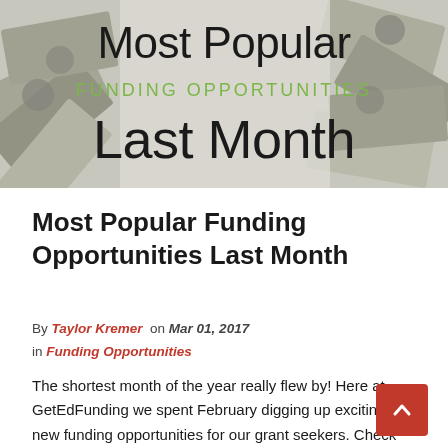[Figure (illustration): Hero banner image showing scattered US dollar bills in the background with text overlay reading 'Most Popular FUNDING OPPORTUNITIES Last Month'. The title text is in black, and 'FUNDING OPPORTUNITIES' is in green.]
Most Popular Funding Opportunities Last Month
By Taylor Kremer on Mar 01, 2017 in Funding Opportunities
The shortest month of the year really flew by! Here at GetEdFunding we spent February digging up exciting, new funding opportunities for our grant seekers. Check out the grants GetEdFunding members viewed the most in the month of